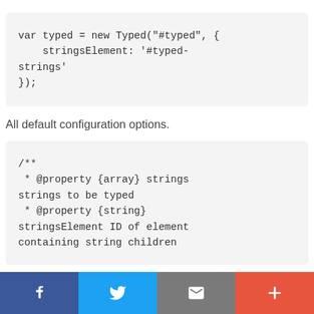All default configuration options.
[Figure (other): Social share bar with Facebook, Twitter, email, and plus buttons]